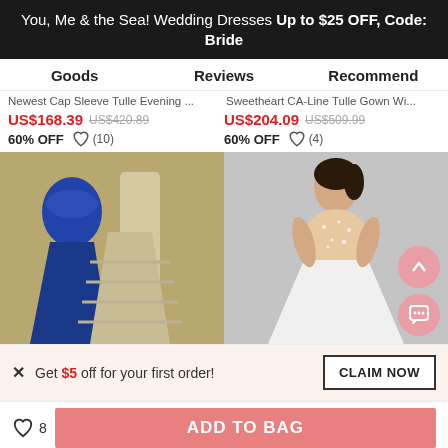You, Me & the Sea! Wedding Dresses Up to $25 OFF, Code: Bride
Goods   Reviews   Recommend
Newest Cap Sleeve Tulle Evening ...   Sweetheart CA-Line Tulle Gown Wi...
US$168.39  US$420.89   US$204.09  US$509.99
60% OFF  (10)  60% OFF  (4)
[Figure (photo): Two blue mermaid-style evening dresses displayed on mannequins]
[Figure (photo): Woman wearing a white ball gown with beaded bodice]
Get $5 off for your first order!  CLAIM NOW
8   ADD TO BAG